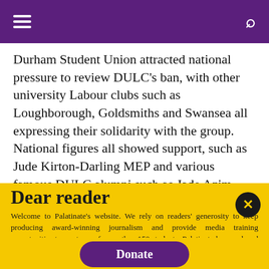☰ [menu] | [search]
Durham Student Union attracted national pressure to review DULC's ban, with other university Labour clubs such as Loughborough, Goldsmiths and Swansea all expressing their solidarity with the group. National figures all showed support, such as Jude Kirton-Darling MEP and various famous DULC alumni such as Jade Azim.
Dear reader
Welcome to Palatinate's website. We rely on readers' generosity to keep producing award-winning journalism and provide media training opportunities to our team of more than 150 students. Palatinate has produced some of the biggest names in British media, from Jeremy Vine to the late great Sir Harold Evans. Every contribution to Palatinate is an investment into the future of journalism.
Donate